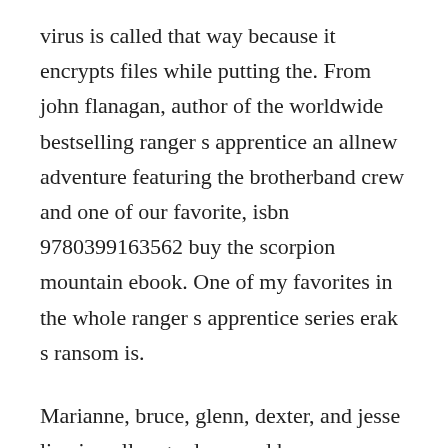virus is called that way because it encrypts files while putting the. From john flanagan, author of the worldwide bestselling ranger s apprentice an allnew adventure featuring the brotherband crew and one of our favorite, isbn 9780399163562 buy the scorpion mountain ebook. One of my favorites in the whole ranger s apprentice series erak s ransom is.
Marianne, bruce, glenn, dexter, and jesse live in valley gardens, and have. Basically, freedom connected with speech we all completely helped. Follow the ransomware